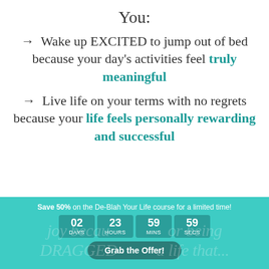You:
→  Wake up EXCITED to jump out of bed because your day's activities feel truly meaningful
→  Live life on your terms with no regrets because your life feels personally rewarding and successful
Save 50% on the De-Blah Your Life course for a limited time!
02 DAYS  23 HOURS  59 MINS  59 SECS
Grab the Offer!